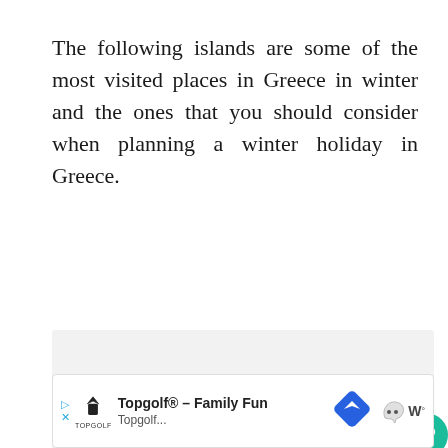The following islands are some of the most visited places in Greece in winter and the ones that you should consider when planning a winter holiday in Greece.
[Figure (photo): Gray placeholder area representing an image, with floating action buttons (heart/favorite and share) on the right side.]
[Figure (other): Advertisement bar at the bottom: Topgolf® – Family Fun ad with Topgolf logo, navigation arrow icon, and Waze-style icon.]